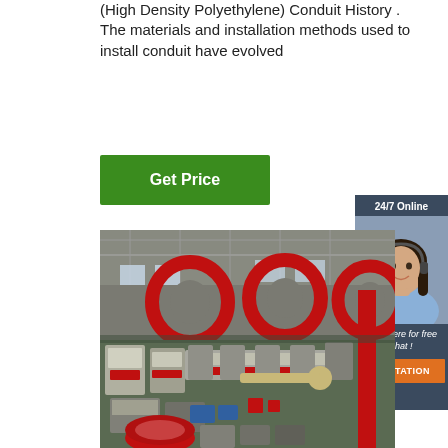(High Density Polyethylene) Conduit History . The materials and installation methods used to install conduit have evolved
[Figure (other): Green 'Get Price' button]
[Figure (other): Chat widget with '24/7 Online' header, woman with headset, 'Click here for free chat!' text, and orange 'QUOTATION' button]
[Figure (photo): Industrial factory floor with red machinery, large red circular coils/spools, and pipe extrusion production lines in a large warehouse]